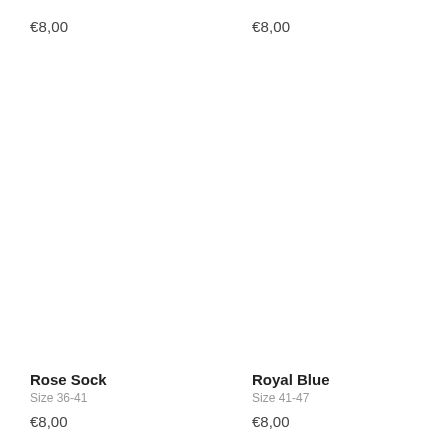€8,00
€8,00
Rose Sock
Size 36-41
€8,00
Royal Blue
Size 41-47
€8,00